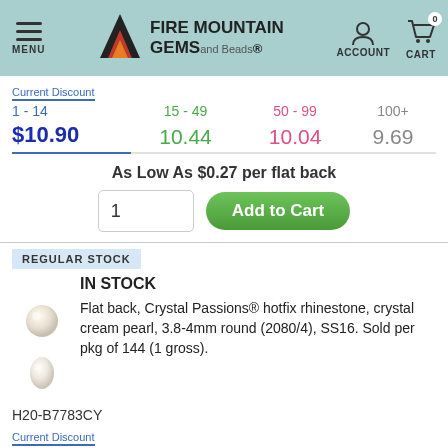[Figure (logo): Fire Mountain Gems and Beads logo with mountain/flame icon and navigation header bar]
| Current Discount | 15 - 49 | 50 - 99 | 100+ |
| --- | --- | --- | --- |
| 1 - 14 | 15 - 49 | 50 - 99 | 100+ |
| $10.90 | 10.44 | 10.04 | 9.69 |
As Low As $0.27 per flat back
1  Add to Cart
REGULAR STOCK
IN STOCK
Flat back, Crystal Passions® hotfix rhinestone, crystal cream pearl, 3.8-4mm round (2080/4), SS16. Sold per pkg of 144 (1 gross).
H20-B7783CY
| Current Discount | 15 - 49 | 50 - 99 | 100+ |
| --- | --- | --- | --- |
| 1 - 14 | 15 - 49 | 50 - 99 | 100+ |
| $12.73 | 12.20 | 11.73 | 11.21 |